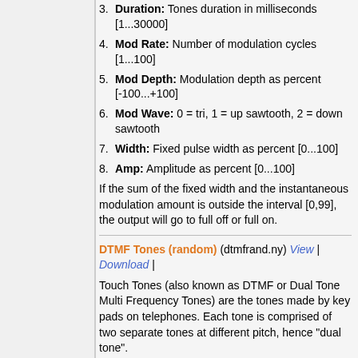3. Duration: Tones duration in milliseconds [1...30000]
4. Mod Rate: Number of modulation cycles [1...100]
5. Mod Depth: Modulation depth as percent [-100...+100]
6. Mod Wave: 0 = tri, 1 = up sawtooth, 2 = down sawtooth
7. Width: Fixed pulse width as percent [0...100]
8. Amp: Amplitude as percent [0...100]
If the sum of the fixed width and the instantaneous modulation amount is outside the interval [0,99], the output will go to full off or full on.
DTMF Tones (random) (dtmfrand.ny) View | Download |
Touch Tones (also known as DTMF or Dual Tone Multi Frequency Tones) are the tones made by key pads on telephones. Each tone is comprised of two separate tones at different pitch, hence "dual tone".